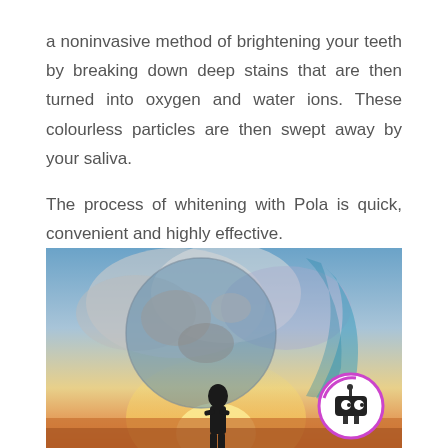a noninvasive method of brightening your teeth by breaking down deep stains that are then turned into oxygen and water ions. These colourless particles are then swept away by your saliva.

The process of whitening with Pola is quick, convenient and highly effective.
[Figure (photo): A silhouette of a person standing against a dramatic sunset sky, holding a large transparent globe of Earth, with a robot character icon overlaid in the bottom right corner.]